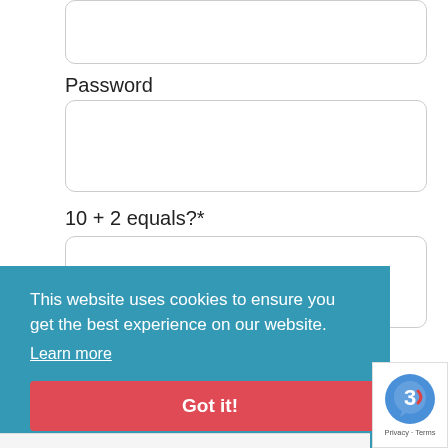[Figure (screenshot): Partial input box at the top of the form (cropped)]
Password
[Figure (screenshot): Password input field (empty text box)]
10 + 2 equals?*
[Figure (screenshot): Captcha answer input field (empty text box)]
Remember Me
This website uses cookies to ensure you get the best experience on our website.
Learn more
Got it!